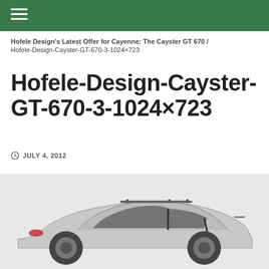Hofele Design's Latest Offer for Cayenne: The Cayster GT 670 / Hofele-Design-Cayster-GT-670-3-1024×723
Hofele-Design-Cayster-GT-670-3-1024×723
JULY 4, 2012
[Figure (photo): Photo of a silver Porsche Cayenne with Hofele Design Cayster GT 670 tuning kit, with Hofele Design shield logo in upper right corner]